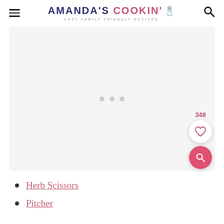AMANDA'S COOKIN' — EASY FAMILY FRIENDLY RECIPES
[Figure (other): Ad placeholder block with light gray background and three gray dots in the center, with a heart/save button showing 348 and a pink search button overlay on lower right]
Herb Scissors
Pitcher